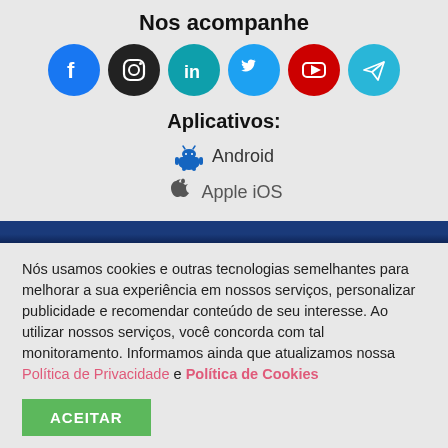Nos acompanhe
[Figure (infographic): Six social media icons in circles: Facebook (blue), Instagram (dark/black), LinkedIn (teal-blue), Twitter (light blue), YouTube (red), Telegram (light blue)]
Aplicativos:
Android
Apple iOS
Nós usamos cookies e outras tecnologias semelhantes para melhorar a sua experiência em nossos serviços, personalizar publicidade e recomendar conteúdo de seu interesse. Ao utilizar nossos serviços, você concorda com tal monitoramento. Informamos ainda que atualizamos nossa Política de Privacidade e Política de Cookies
ACEITAR